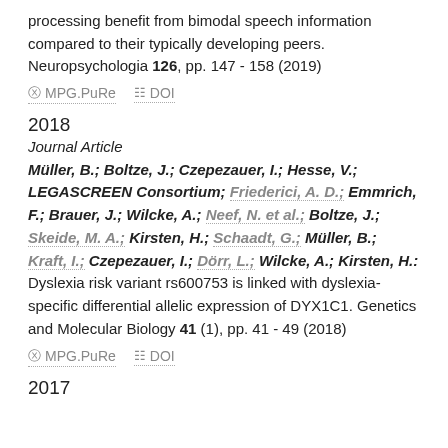processing benefit from bimodal speech information compared to their typically developing peers. Neuropsychologia 126, pp. 147 - 158 (2019)
MPG.PuRe   DOI
2018
Journal Article
Müller, B.; Boltze, J.; Czepezauer, I.; Hesse, V.; LEGASCREEN Consortium; Friederici, A. D.; Emmrich, F.; Brauer, J.; Wilcke, A.; Neef, N. et al.; Boltze, J.; Skeide, M. A.; Kirsten, H.; Schaadt, G.; Müller, B.; Kraft, I.; Czepezauer, I.; Dörr, L.; Wilcke, A.; Kirsten, H.: Dyslexia risk variant rs600753 is linked with dyslexia-specific differential allelic expression of DYX1C1. Genetics and Molecular Biology 41 (1), pp. 41 - 49 (2018)
MPG.PuRe   DOI
2017